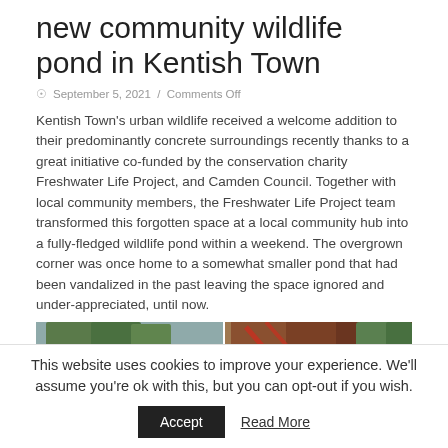new community wildlife pond in Kentish Town
September 5, 2021 / Comments Off
Kentish Town's urban wildlife received a welcome addition to their predominantly concrete surroundings recently thanks to a great initiative co-funded by the conservation charity Freshwater Life Project, and Camden Council. Together with local community members, the Freshwater Life Project team transformed this forgotten space at a local community hub into a fully-fledged wildlife pond within a weekend. The overgrown corner was once home to a somewhat smaller pond that had been vandalized in the past leaving the space ignored and under-appreciated, until now.
[Figure (photo): Outdoor photo showing a wildlife pond area with wooden fencing, trees and greenery in Kentish Town.]
This website uses cookies to improve your experience. We'll assume you're ok with this, but you can opt-out if you wish.